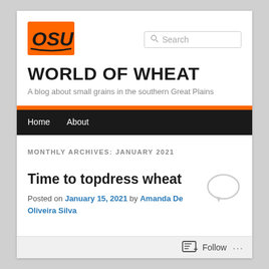[Figure (logo): OSU logo in orange with stylized letters on a black background]
WORLD OF WHEAT
A blog about small grains in the southern Great Plains
Home   About
MONTHLY ARCHIVES: JANUARY 2021
Time to topdress wheat
Posted on January 15, 2021 by Amanda De Oliveira Silva
Follow